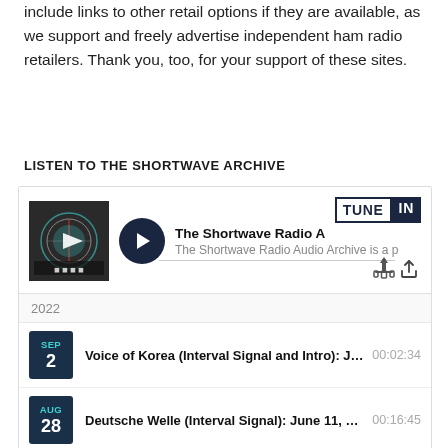include links to other retail options if they are available, as we support and freely advertise independent ham radio retailers. Thank you, too, for your support of these sites.
LISTEN TO THE SHORTWAVE ARCHIVE
[Figure (screenshot): TuneIn embedded audio widget showing The Shortwave Radio Audio Archive player with album art, play button, and a list of episodes including: 'Voice of Korea (Interval Signal and Intro): July ...' 00:02:34 (SEP 2), 'Deutsche Welle (Interval Signal): June 11, 2022' 00:16:45 (AUG 28), 'Voice of Greece - Final Transmission: June 15, 2...' 01:29:39 (AUG 24), 'Radio Tamazuj: June 10, 2022' 00:41:16 (AUG), year header 2022]